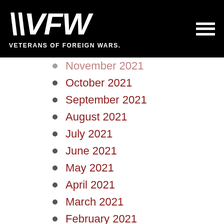VFW VETERANS OF FOREIGN WARS.
November 2021
October 2021
September 2021
August 2021
July 2021
June 2021
May 2021
April 2021
March 2021
February 2021
January 2021
December 2020
October 2020